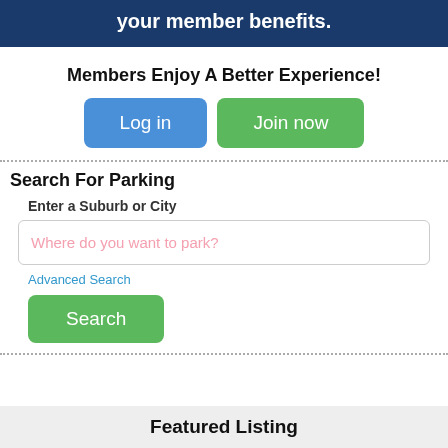[Figure (screenshot): Dark navy blue banner with white bold text 'your member benefits.']
Members Enjoy A Better Experience!
[Figure (infographic): Two buttons side by side: blue 'Log in' button and green 'Join now' button]
Search For Parking
Enter a Suburb or City
[Figure (screenshot): Search input field with placeholder text 'Where do you want to park?']
Advanced Search
[Figure (screenshot): Green 'Search' button]
Featured Listing